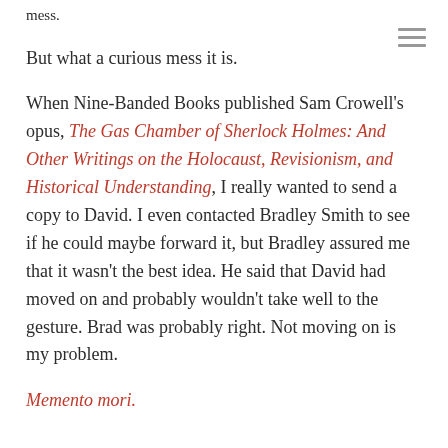mess.
But what a curious mess it is.
When Nine-Banded Books published Sam Crowell's opus, The Gas Chamber of Sherlock Holmes: And Other Writings on the Holocaust, Revisionism, and Historical Understanding, I really wanted to send a copy to David. I even contacted Bradley Smith to see if he could maybe forward it, but Bradley assured me that it wasn't the best idea. He said that David had moved on and probably wouldn't take well to the gesture. Brad was probably right. Not moving on is my problem.
Memento mori.